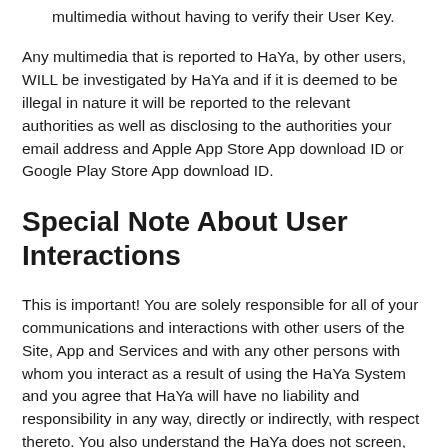multimedia without having to verify their User Key.
Any multimedia that is reported to HaYa, by other users, WILL be investigated by HaYa and if it is deemed to be illegal in nature it will be reported to the relevant authorities as well as disclosing to the authorities your email address and Apple App Store App download ID or Google Play Store App download ID.
Special Note About User Interactions
This is important! You are solely responsible for all of your communications and interactions with other users of the Site, App and Services and with any other persons with whom you interact as a result of using the HaYa System and you agree that HaYa will have no liability and responsibility in any way, directly or indirectly, with respect thereto. You also understand the HaYa does not screen, inquire into the